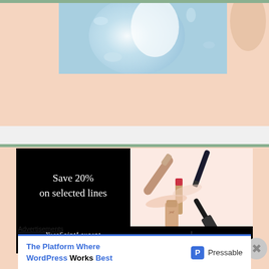[Figure (photo): Top portion of a beauty/cosmetics website showing a light blue and peach background with a partial image of cosmetic products and a hand]
[Figure (photo): Yves Saint Laurent advertisement showing 'Save 20% on selected lines' on black background with cosmetic products (lipstick, mascara, lip gloss) on peach background. Badge reads 'BRAND OF THE WEEK | PREMIUM BEAUTY']
Advertisements
[Figure (infographic): Pressable advertisement: 'The Platform Where WordPress Works Best' with Pressable logo]